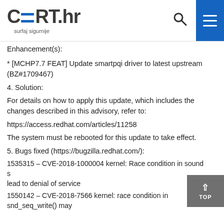CERT.hr surfaj sigurnije
Enhancement(s):
* [MCHP7.7 FEAT] Update smartpqi driver to latest upstream (BZ#1709467)
4. Solution:
For details on how to apply this update, which includes the changes described in this advisory, refer to:
https://access.redhat.com/articles/11258
The system must be rebooted for this update to take effect.
5. Bugs fixed (https://bugzilla.redhat.com/):
1535315 – CVE-2018-1000004 kernel: Race condition in sound system may lead to denial of service
1550142 – CVE-2018-7566 kernel: race condition in snd_seq_write() may